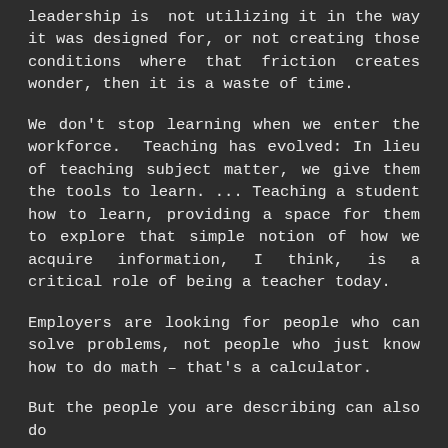leadership is not utilizing it in the way it was designed for, or not creating those conditions where that friction creates wonder, then it is a waste of time.
We don't stop learning when we enter the workforce. Teaching has evolved: In lieu of teaching subject matter, we give them the tools to learn. ... Teaching a student how to learn, providing a space for them to explore that simple notion of how we acquire information, I think, is a critical role of being a teacher today.
Employers are looking for people who can solve problems, not people who just know how to do math – that's a calculator.
But the people you are describing can also do